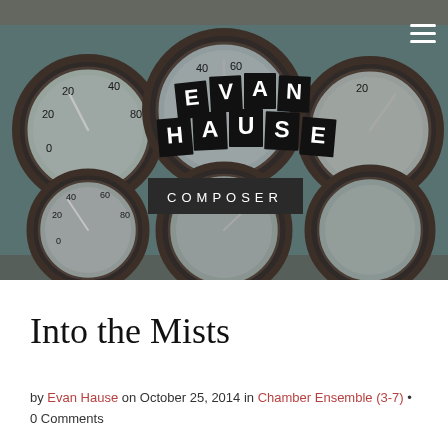[Figure (photo): Header banner photo showing old industrial pressure gauges on a weathered teal/green metal panel. Overlaid with the 'EVAN HAUSE' logo in black letter tiles arranged in an arc, and 'COMPOSER' in a dark rectangular box below. A hamburger menu icon appears in the top right corner.]
Into the Mists
by Evan Hause on October 25, 2014 in Chamber Ensemble (3-7) • 0 Comments